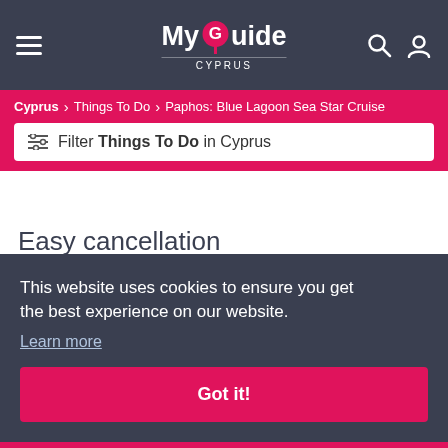My Guide CYPRUS
Cyprus > Things To Do > Paphos: Blue Lagoon Sea Star Cruise
Filter Things To Do in Cyprus
Easy cancellation
Cancel up to 24 hours in advance for a full refund
This website uses cookies to ensure you get the best experience on our website.
Learn more
Got it!